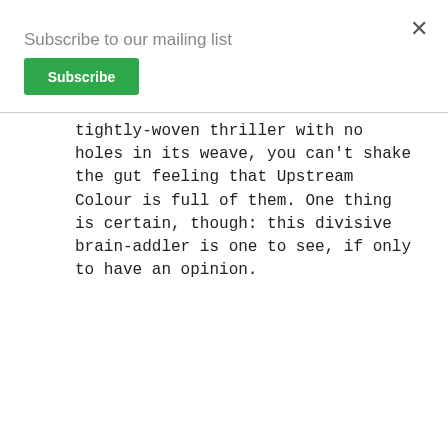Subscribe to our mailing list
Subscribe
tightly-woven thriller with no holes in its weave, you can't shake the gut feeling that Upstream Colour is full of them. One thing is certain, though: this divisive brain-addler is one to see, if only to have an opinion.